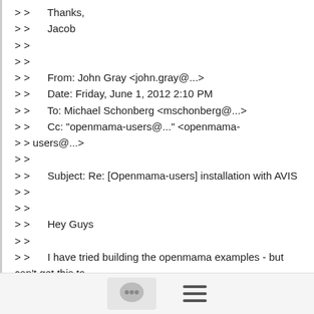> >      Thanks,
> >      Jacob
> >
> >
> >      From: John Gray <john.gray@...>
> >      Date: Friday, June 1, 2012 2:10 PM
> >      To: Michael Schonberg <mschonberg@...>
> >      Cc: "openmama-users@..." <openmama-
> > users@...>
> >
> >      Subject: Re: [Openmama-users] installation with AVIS
> >
> >
> >      Hey Guys
> >
> >      I have tried building the openmama examples - but can't get this to
> > happen.
[Figure (screenshot): Bottom navigation bar with a chat bubble icon button and a hamburger menu icon]